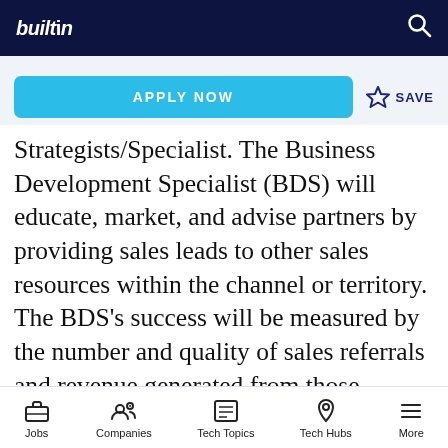builtin
Strategists/Specialist. The Business Development Specialist (BDS) will educate, market, and advise partners by providing sales leads to other sales resources within the channel or territory. The BDS's success will be measured by the number and quality of sales referrals and revenue generated from those referrals. A BDS is expected to provide regular in-person meetings and training and/or provide leadership within a channel or account. A
Jobs   Companies   Tech Topics   Tech Hubs   More